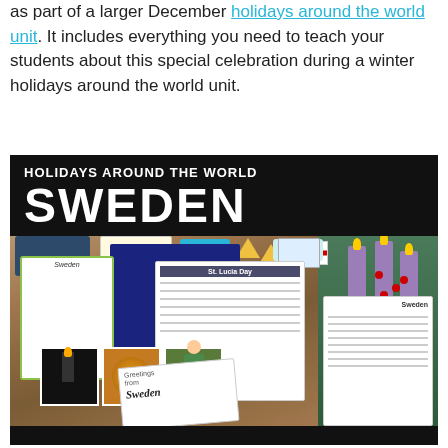as part of a larger December holidays around the world unit. It includes everything you need to teach your students about this special celebration during a winter holidays around the world unit.
[Figure (photo): Educational product image showing 'Holidays Around the World: Sweden' with classroom materials including worksheets about St. Lucia Day, a Sweden writing booklet, postcard, passport, photos, and decorative Swedish Advent wreath with candles, all spread on a wooden table surface.]